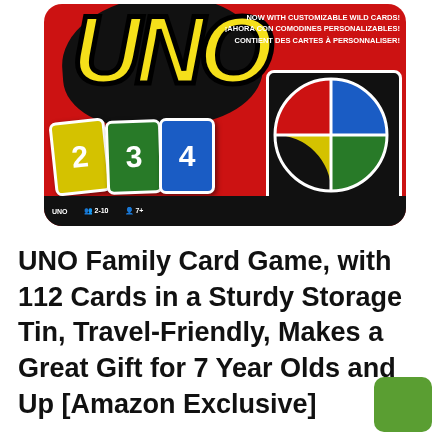[Figure (photo): UNO Family Card Game box showing the red tin with UNO logo, customizable wild cards text, cards numbered 2, 3, 4, a wild card circle with four colors (red, blue, green, yellow), and an info bar showing 2-10 players, age 7+.]
UNO Family Card Game, with 112 Cards in a Sturdy Storage Tin, Travel-Friendly, Makes a Great Gift for 7 Year Olds and Up [Amazon Exclusive]